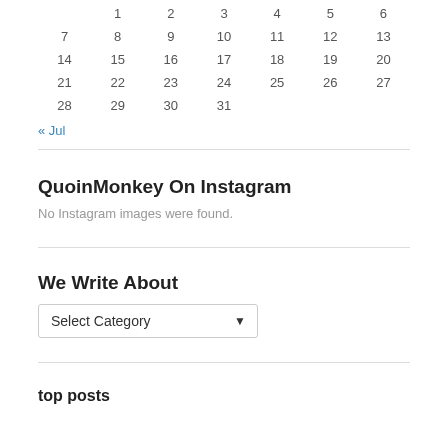| 1 | 2 | 3 | 4 | 5 | 6 |
| 7 | 8 | 9 | 10 | 11 | 12 | 13 |
| 14 | 15 | 16 | 17 | 18 | 19 | 20 |
| 21 | 22 | 23 | 24 | 25 | 26 | 27 |
| 28 | 29 | 30 | 31 |  |  |  |
« Jul
QuoinMonkey On Instagram
No Instagram images were found.
We Write About
Select Category
top posts